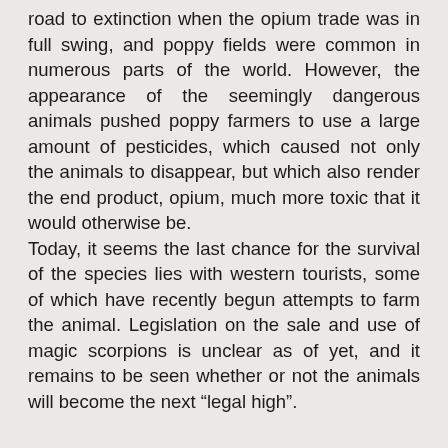road to extinction when the opium trade was in full swing, and poppy fields were common in numerous parts of the world. However, the appearance of the seemingly dangerous animals pushed poppy farmers to use a large amount of pesticides, which caused not only the animals to disappear, but which also render the end product, opium, much more toxic that it would otherwise be.
Today, it seems the last chance for the survival of the species lies with western tourists, some of which have recently begun attempts to farm the animal. Legislation on the sale and use of magic scorpions is unclear as of yet, and it remains to be seen whether or not the animals will become the next “legal high”.
Z. King à 14:27
Partager